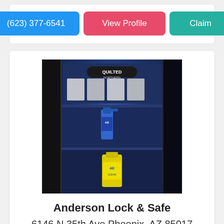[Figure (other): Three buttons: blue phone button '(623) 377-6541', red 'View Profile' button, teal 'Claim' button]
[Figure (photo): Photo of an open safe/storage unit with blue LED lighting inside, showing toilet paper rolls on top shelf and cleaning supply bottles (like Lysol) on lower shelves]
Anderson Lock & Safe
6146 N 35th Ave Phoenix, AZ 85017